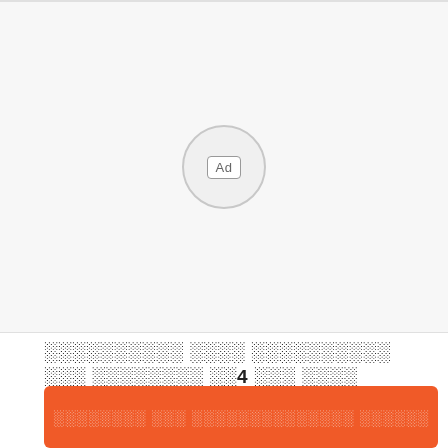[Figure (other): Advertisement placeholder area with a circular 'Ad' badge in the center on a light gray background]
░░░░░░░░░░ ░░░░ ░░░░░░░░░░ ░░░ ░░░░░░░░ ░░4 ░░░ ░░░░
░░░░░░░░ ░░░ ░░░░░░░░░░░░░░ ░░░░░░